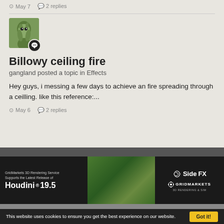one that's simplified node run pretty fast ;) and has several controllers. ...
May 7   2 replies
[Figure (illustration): User avatar showing a green creature/character illustration with a speech bubble badge overlay]
Billowy ceiling fire
gangland posted a topic in Effects
Hey guys, i messing a few days to achieve an fire spreading through a ceilling. like this reference:...
May 6   2 replies
[Figure (advertisement): GridMarkets 3D Rendering Service advertisement for Houdini 19.5 with SideFX logo and green organic imagery]
This website uses cookies to ensure you get the best experience on our website.
Got it!